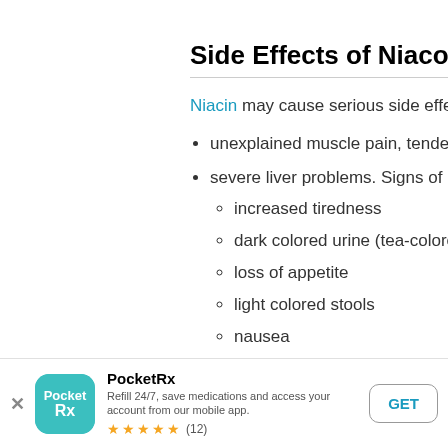Side Effects of Niacor B3
Niacin may cause serious side effects.
unexplained muscle pain, tenderness
severe liver problems. Signs of liver problems include:
increased tiredness
dark colored urine (tea-colored)
loss of appetite
light colored stools
nausea
[Figure (screenshot): PocketRx app banner with logo, description 'Refill 24/7, save medications and access your account from our mobile app.', 5-star rating (12 reviews), and GET button]